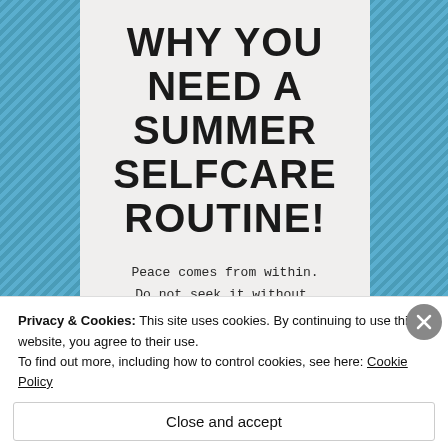[Figure (infographic): A card on a teal diagonal-striped background with large handwritten-style text reading 'WHY YOU NEED A SUMMER SELFCARE ROUTINE!' followed by a quote and website URL.]
WHY YOU NEED A SUMMER SELFCARE ROUTINE!
Peace comes from within. Do not seek it without.
WWW.RELATETEC.COM
Privacy & Cookies: This site uses cookies. By continuing to use this website, you agree to their use. To find out more, including how to control cookies, see here: Cookie Policy
Close and accept